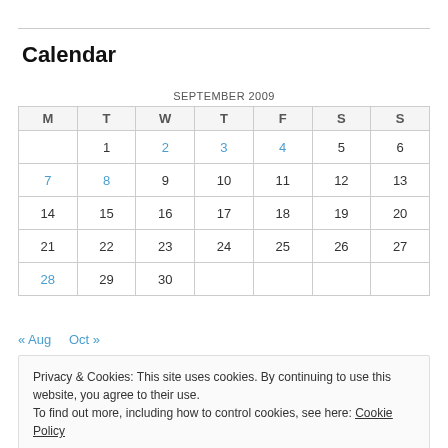Calendar
| M | T | W | T | F | S | S |
| --- | --- | --- | --- | --- | --- | --- |
|  | 1 | 2 | 3 | 4 | 5 | 6 |
| 7 | 8 | 9 | 10 | 11 | 12 | 13 |
| 14 | 15 | 16 | 17 | 18 | 19 | 20 |
| 21 | 22 | 23 | 24 | 25 | 26 | 27 |
| 28 | 29 | 30 |  |  |  |  |
« Aug   Oct »
Privacy & Cookies: This site uses cookies. By continuing to use this website, you agree to their use. To find out more, including how to control cookies, see here: Cookie Policy
Close and accept